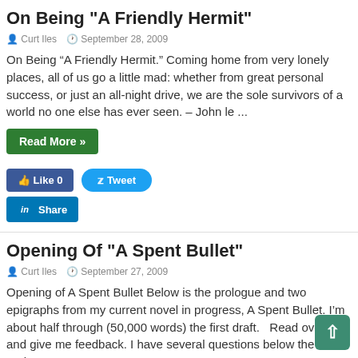On Being "A Friendly Hermit"
Curt Iles   September 28, 2009
On Being “A Friendly Hermit.” Coming home from very lonely places, all of us go a little mad: whether from great personal success, or just an all-night drive, we are the sole survivors of a world no one else has ever seen. – John le ...
Read More »
Like 0   Tweet   Share
Opening Of "A Spent Bullet"
Curt Iles   September 27, 2009
Opening of A Spent Bullet Below is the prologue and two epigraphs from my current novel in progress, A Spent Bullet. I’m about half through (50,000 words) the first draft.   Read over it and give me feedback. I have several questions below the prologue. ...